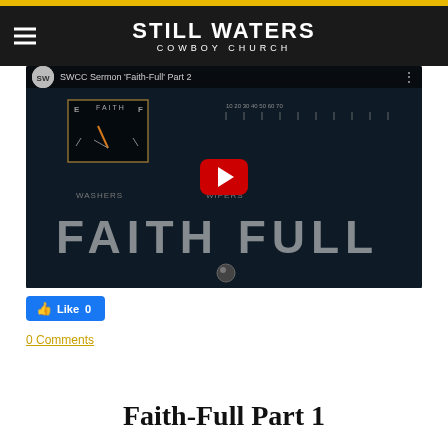STILL WATERS COWBOY CHURCH
[Figure (screenshot): YouTube video thumbnail showing a vintage car dashboard with a 'FAITH' gauge and 'FAITH FULL' text, with a red YouTube play button in the center. Video title: SWCC Sermon 'Faith-Full' Part 2]
Like 0
0 Comments
Faith-Full Part 1